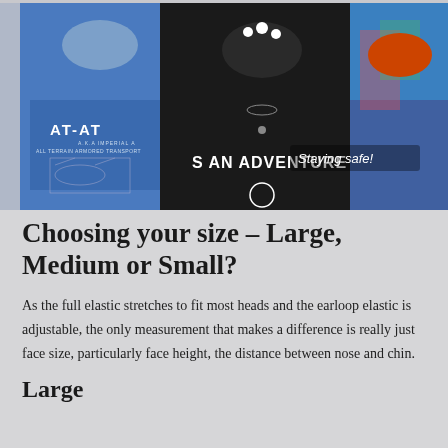[Figure (photo): Three people wearing face masks posing together. Person on left wears blue AT-AT Star Wars shirt and a mask. Person in middle wears black shirt reading 'S AN ADVENTURE' and a dark mask with white flower decoration. Person on right wears tie-dye blue shirt and orange/red mask. Text overlay reads 'Staying safe!']
Choosing your size – Large, Medium or Small?
As the full elastic stretches to fit most heads and the earloop elastic is adjustable, the only measurement that makes a difference is really just face size, particularly face height, the distance between nose and chin.
Large